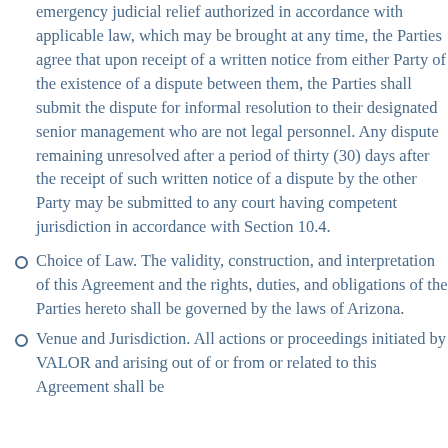emergency judicial relief authorized in accordance with applicable law, which may be brought at any time, the Parties agree that upon receipt of a written notice from either Party of the existence of a dispute between them, the Parties shall submit the dispute for informal resolution to their designated senior management who are not legal personnel. Any dispute remaining unresolved after a period of thirty (30) days after the receipt of such written notice of a dispute by the other Party may be submitted to any court having competent jurisdiction in accordance with Section 10.4.
Choice of Law. The validity, construction, and interpretation of this Agreement and the rights, duties, and obligations of the Parties hereto shall be governed by the laws of Arizona.
Venue and Jurisdiction. All actions or proceedings initiated by VALOR and arising out of or from or related to this Agreement shall be